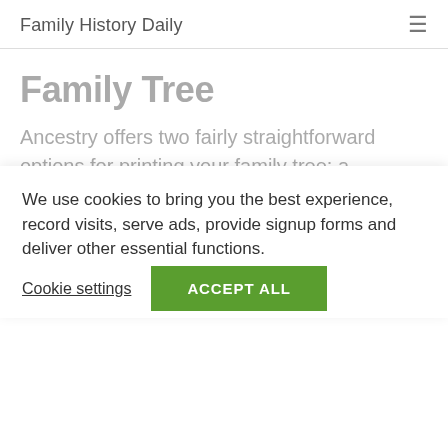Family History Daily
Family Tree
Ancestry offers two fairly straightforward options for printing your family tree: a horizontal pedigree view and a vertical family view.
We use cookies to bring you the best experience, record visits, serve ads, provide signup forms and deliver other essential functions.
Cookie settings   ACCEPT ALL